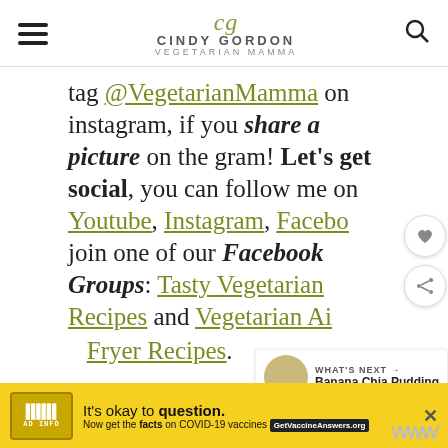Cindy Gordon — Vegetarian Mamma
tag @VegetarianMamma on instagram, if you share a picture on the gram! Let's get social, you can follow me on Youtube, Instagram, Facebook, join one of our Facebook Groups: Tasty Vegetarian Recipes and Vegetarian Air Fryer Recipes.
2
WHAT'S NEXT → Banana Chia Pudding
It's okay to question. Now get the facts on COVID-19 vaccines GetVaccineAnswers.org